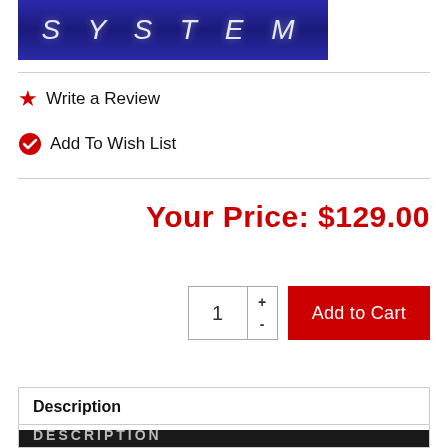[Figure (logo): Blue banner with text 'S Y S T E M' in large italic letters on dark blue textured background]
Write a Review
Add To Wish List
Your Price:  $129.00
1
Add to Cart
Description
DESCRIPTION